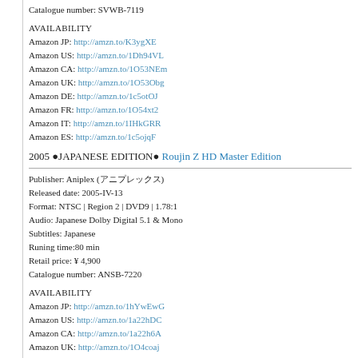Catalogue number: SVWB-7119
AVAILABILITY
Amazon JP: http://amzn.to/K3ygXE
Amazon US: http://amzn.to/1Dh94VL
Amazon CA: http://amzn.to/1O53NEm
Amazon UK: http://amzn.to/1O53Obg
Amazon DE: http://amzn.to/1c5otOJ
Amazon FR: http://amzn.to/1O54xt2
Amazon IT: http://amzn.to/1IHkGRR
Amazon ES: http://amzn.to/1c5ojqF
2005 ●JAPANESE EDITION● Roujin Z HD Master Edition
Publisher: Aniplex (アニプレックス)
Released date: 2005-IV-13
Format: NTSC | Region 2 | DVD9 | 1.78:1
Audio: Japanese Dolby Digital 5.1 & Mono
Subtitles: Japanese
Runing time:80 min
Retail price: ¥ 4,900
Catalogue number: ANSB-7220
AVAILABILITY
Amazon JP: http://amzn.to/1hYwEwG
Amazon US: http://amzn.to/1a22hDC
Amazon CA: http://amzn.to/1a22h6A
Amazon UK: http://amzn.to/1O4coaj
Amazon DE: http://amzn.to/1FbYMs5
Amazon FR: http://amzn.to/1CuIVOa
Amazon IT:-
Amazon ES: http://amzn.to/1FbYDoI
1998 ●US EDITION● Roujin Z